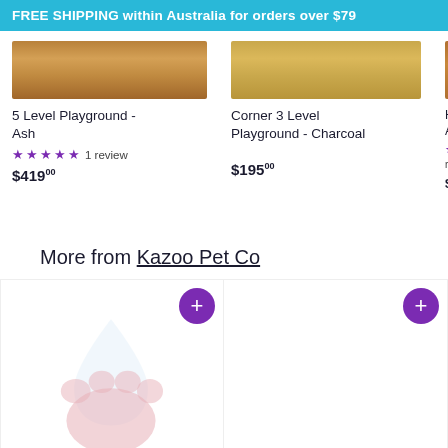FREE SHIPPING within Australia for orders over $79
5 Level Playground - Ash
★★★★★ 1 review
$419.00
Corner 3 Level Playground - Charcoal
$195.00
High Be... Ash Plu...
★★★★ reviews
$269.00
More from Kazoo Pet Co
[Figure (photo): Product card with purple add button and paw print graphic]
[Figure (photo): Product card with purple add button, SOLD O(UT) label]